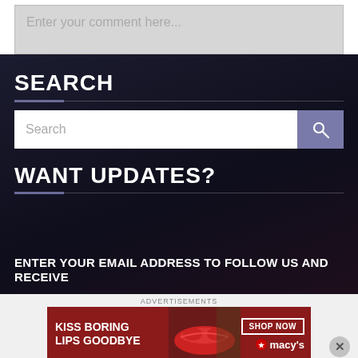Enter your comment here...
SEARCH
Search
WANT UPDATES?
ENTER YOUR EMAIL ADDRESS TO FOLLOW US AND RECEIVE
[Figure (screenshot): Macy's advertisement banner: 'KISS BORING LIPS GOODBYE' with SHOP NOW button and Macy's logo, featuring a woman's face with red lips]
Advertisements